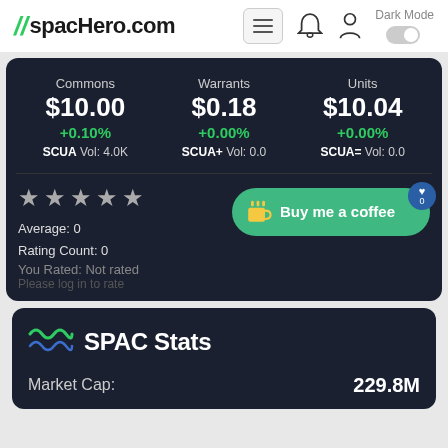spacHero.com
| Commons | Warrants | Units |
| --- | --- | --- |
| $10.00 | $0.18 | $10.04 |
| +0.10% | +0.00% | +0.00% |
| SCUA Vol: 4.0K | SCUA+ Vol: 0.0 | SCUA= Vol: 0.0 |
Average: 0
Rating Count: 0
You Rated: Not rated
Please log in to rate
[Figure (screenshot): Buy me a coffee button with heart badge showing 0]
SPAC Stats
Market Cap: 229.8M